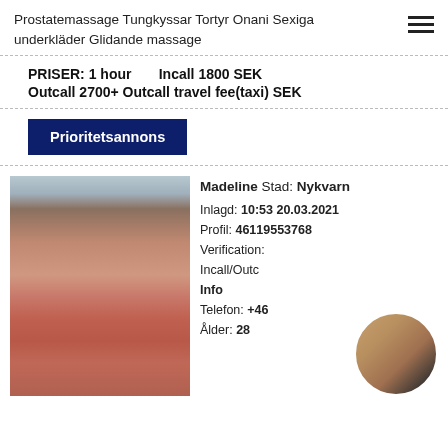Prostatemassage Tungkyssar Tortyr Onani Sexiga underkläder Glidande massage
PRISER: 1 hour   Incall 1800 SEK
Outcall 2700+ Outcall travel fee(taxi) SEK
Prioritetsannons
[Figure (photo): Photo of a young woman with long brown hair in a red outfit]
Madeline Stad: Nykvarn
Inlagd: 10:53 20.03.2021
Profil: 46119553768
Verification:
Incall/Outc
Info
Telefon: +46...
Ålder: 28